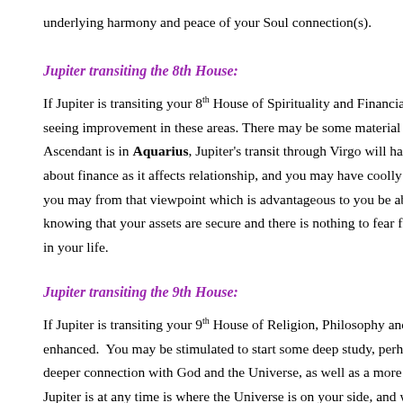underlying harmony and peace of your Soul connection(s).
Jupiter transiting the 8th House:
If Jupiter is transiting your 8th House of Spirituality and Financial Arrangements with Others, you should gradually be seeing improvement in these areas. There may be some material gifts from other people, and a greater faith in life. If your Ascendant is in Aquarius, Jupiter's transit through Virgo will have increased your sense of detachment and perspective about finance as it affects relationship, and you may have coolly reached certain conclusions. As Jupiter turns into Libra, you may from that viewpoint which is advantageous to you be able to extend further and more warmly towards others, knowing that your assets are secure and there is nothing to fear from further engagement. There may also be more passion in your life.
Jupiter transiting the 9th House:
If Jupiter is transiting your 9th House of Religion, Philosophy and Foreign Travel, these areas of life may be currently enhanced. You may be stimulated to start some deep study, perhaps some new courses start this month. It can open up a deeper connection with God and the Universe, as well as a more all-embracing philosophy of life. As mentioned, where Jupiter is at any time is where the Universe is on your side, and where you receive the most assistance in your life during this period. It is also where the Universe urges you to grow, and also literally cover the ground. A trip abroad this year could be very helpful. If your Ascendant is in Capricorn, Jupiter